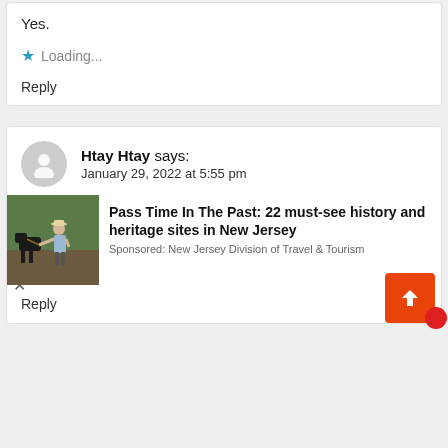Yes.
Loading...
Reply
Htay Htay says:
January 29, 2022 at 5:55 pm
[Figure (infographic): Advertisement banner: Pass Time In The Past: 22 must-see history and heritage sites in New Jersey. Sponsored: New Jersey Division of Travel & Tourism. Shows a person in historical clothing plowing a field with a horse.]
Reply